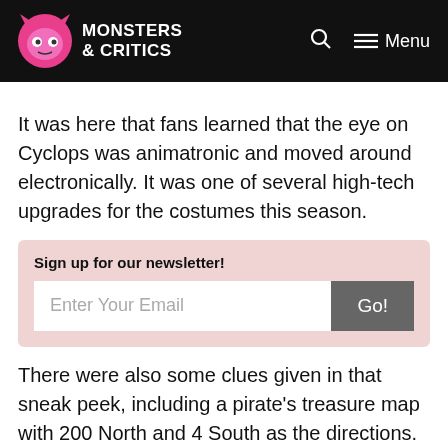Monsters & Critics — Menu
It was here that fans learned that the eye on Cyclops was animatronic and moved around electronically. It was one of several high-tech upgrades for the costumes this season.
Sign up for our newsletter! [Enter Your Email] [Go!]
There were also some clues given in that sneak peek, including a pirate's treasure map with 200 North and 4 South as the directions.
Before Cyclops...